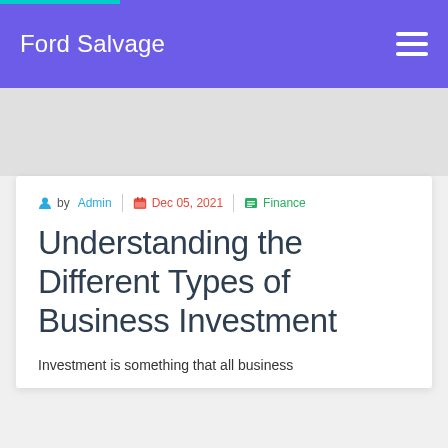Ford Salvage
by Admin | Dec 05, 2021 | Finance
Understanding the Different Types of Business Investment
Investment is something that all business